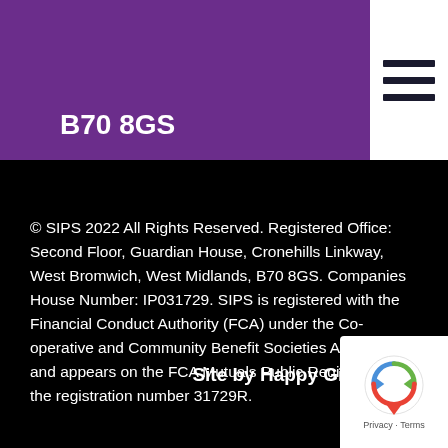B70 8GS
© SIPS 2022 All Rights Reserved. Registered Office: Second Floor, Guardian House, Cronehills Linkway, West Bromwich, West Midlands, B70 8GS. Companies House Number: IP031729. SIPS is registered with the Financial Conduct Authority (FCA) under the Co-operative and Community Benefit Societies Act 2014 and appears on the FCA Mutuals Public Register with the registration number 31729R.
Site by Happy Giraff